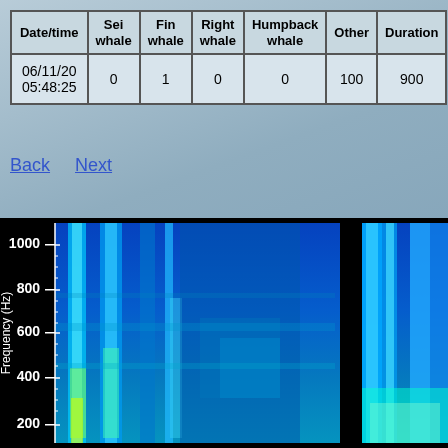| Date/time | Sei whale | Fin whale | Right whale | Humpback whale | Other | Duration |
| --- | --- | --- | --- | --- | --- | --- |
| 06/11/20 05:48:25 | 0 | 1 | 0 | 0 | 100 | 900 |
Back   Next
[Figure (other): Spectrogram showing frequency (Hz) on y-axis (200–1000 Hz) vs time on x-axis. Colormap ranges from blue (low intensity) to yellow/green (high intensity). Shows whale acoustic signals with bright vertical bands and horizontal energy concentrations.]